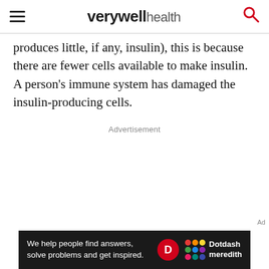verywell health
produces little, if any, insulin), this is because there are fewer cells available to make insulin. A person's immune system has damaged the insulin-producing cells.
Advertisement
[Figure (other): Bottom banner advertisement: 'We help people find answers, solve problems and get inspired.' with Dotdash Meredith logo]